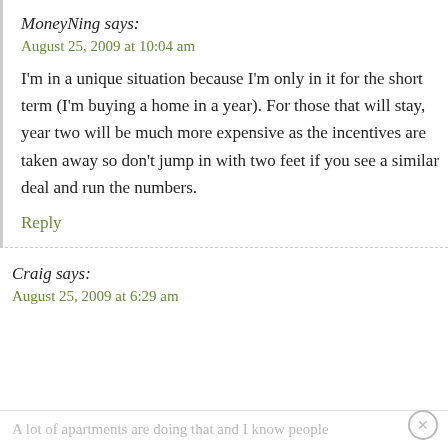MoneyNing says:
August 25, 2009 at 10:04 am
I'm in a unique situation because I'm only in it for the short term (I'm buying a home in a year). For those that will stay, year two will be much more expensive as the incentives are taken away so don't jump in with two feet if you see a similar deal and run the numbers.
Reply
Craig says:
August 25, 2009 at 6:29 am
A lot of apartments are doing that and I know people